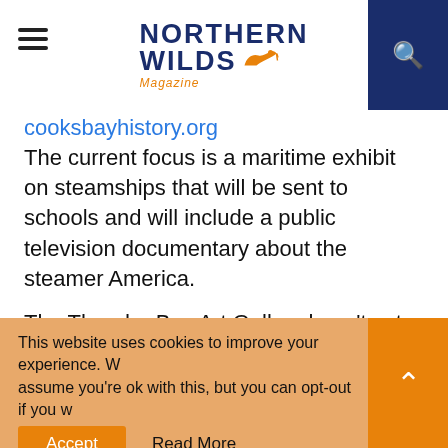Northern Wilds Magazine
cooksbayhistory.org. The current focus is a maritime exhibit on steamships that will be sent to schools and will include a public television documentary about the steamer America.
The Thunder Bay Art Gallery hasn't set a reopening date, because it is dependent on provincial guidance. At this writing, Ontario's state of emergency extends to June 2.
“We’ll hit the ground running whenever we can,” director Sharon Godwin wrote in an email.
This website uses cookies to improve your experience. We assume you’re ok with this, but you can opt-out if you w